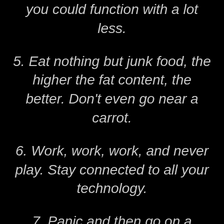you could function with a lot less.
5. Eat nothing but junk food, the higher the fat content, the better. Don't even go near a carrot.
6. Work, work, work, and never play. Stay connected to all your technology.
7. Panic and then go on a starvation diet, the more extreme, the better.
8. (text cut off)